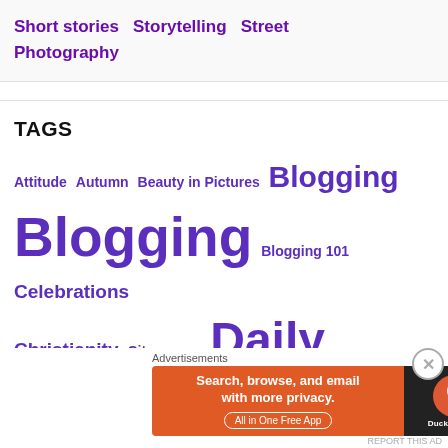Short stories  Storytelling  Street Photography
TAGS
Attitude  Autumn  Beauty in Pictures  Blogging  Blogging  Blogging 101  Celebrations  Christianity  Cityscapes  Daily Nuggets  Daily Post  Daily Prompt  Denmark  Devotional  Devotional Nuggets  Dinner
Advertisements
[Figure (screenshot): DuckDuckGo advertisement banner: Search, browse, and email with more privacy. All in One Free App.]